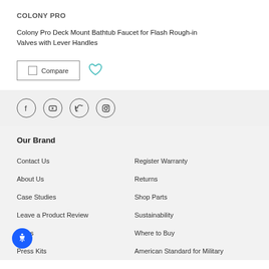COLONY PRO
Colony Pro Deck Mount Bathtub Faucet for Flash Rough-in Valves with Lever Handles
Compare (button with checkbox) and heart/wishlist icon
[Figure (other): Social media icons row: Facebook, YouTube, Twitter, Instagram — circular outlined icons]
Our Brand
Contact Us
Register Warranty
About Us
Returns
Case Studies
Shop Parts
Leave a Product Review
Sustainability
Press
Where to Buy
Press Kits
American Standard for Military